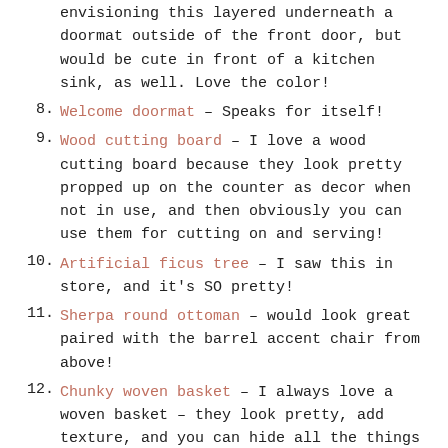envisioning this layered underneath a doormat outside of the front door, but would be cute in front of a kitchen sink, as well. Love the color!
Welcome doormat – Speaks for itself!
Wood cutting board – I love a wood cutting board because they look pretty propped up on the counter as decor when not in use, and then obviously you can use them for cutting on and serving!
Artificial ficus tree – I saw this in store, and it's SO pretty!
Sherpa round ottoman – would look great paired with the barrel accent chair from above!
Chunky woven basket – I always love a woven basket – they look pretty, add texture, and you can hide all the things in them (remotes, magazines, blankets, etc.)!